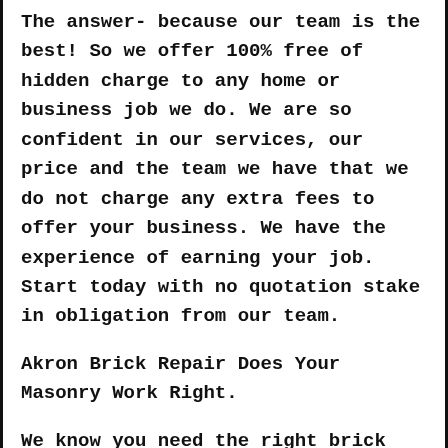The answer- because our team is the best! So we offer 100% free of hidden charge to any home or business job we do. We are so confident in our services, our price and the team we have that we do not charge any extra fees to offer your business. We have the experience of earning your job. Start today with no quotation stake in obligation from our team.
Akron Brick Repair Does Your Masonry Work Right.
We know you need the right brick installation service the first time. We can deal with any size business from large to small at the best price. Our network